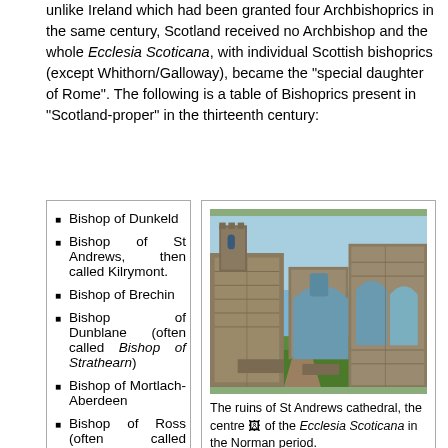unlike Ireland which had been granted four Archbishoprics in the same century, Scotland received no Archbishop and the whole Ecclesia Scoticana, with individual Scottish bishoprics (except Whithorn/Galloway), became the "special daughter of Rome". The following is a table of Bishoprics present in "Scotland-proper" in the thirteenth century:
Bishop of Dunkeld
Bishop of St Andrews, then called Kilrymont.
Bishop of Brechin
Bishop of Dunblane (often called Bishop of Strathearn)
Bishop of Mortlach-Aberdeen
Bishop of Ross (often called Bishop of
[Figure (photo): The ruins of St Andrews cathedral, a stone ruin with arches and towers against a blue sky with green grass in foreground.]
The ruins of St Andrews cathedral, the centre of the Ecclesia Scoticana in the Norman period.